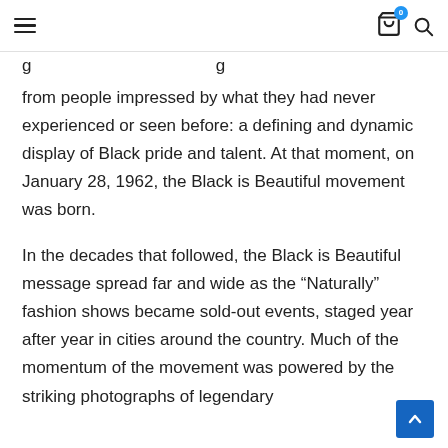Navigation bar with hamburger menu, cart icon (badge: 0), and search icon
…g… …g…
from people impressed by what they had never experienced or seen before: a defining and dynamic display of Black pride and talent. At that moment, on January 28, 1962, the Black is Beautiful movement was born.
In the decades that followed, the Black is Beautiful message spread far and wide as the “Naturally” fashion shows became sold-out events, staged year after year in cities around the country. Much of the momentum of the movement was powered by the striking photographs of legendary